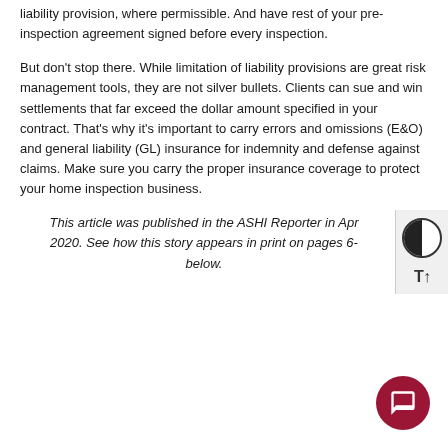liability provision, where permissible. And have rest of your pre-inspection agreement signed before every inspection.
But don't stop there. While limitation of liability provisions are great risk management tools, they are not silver bullets. Clients can sue and win settlements that far exceed the dollar amount specified in your contract. That's why it's important to carry errors and omissions (E&O) and general liability (GL) insurance for indemnity and defense against claims. Make sure you carry the proper insurance coverage to protect your home inspection business.
This article was published in the ASHI Reporter in April 2020. See how this story appears in print on pages 6- below.